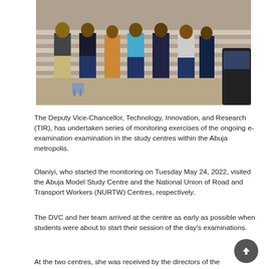[Figure (photo): Group of people standing on steps outdoors in front of a building, some in formal wear]
The Deputy Vice-Chancellor, Technology, Innovation, and Research (TIR), has undertaken series of monitoring exercises of the ongoing e-examination examination in the study centres within the Abuja metropolis.
Olaniyi, who started the monitoring on Tuesday May 24, 2022, visited the Abuja Model Study Centre and the National Union of Road and Transport Workers (NURTW) Centres, respectively.
The DVC and her team arrived at the centre as early as possible when students were about to start their session of the day's examinations.
At the two centres, she was received by the directors of the